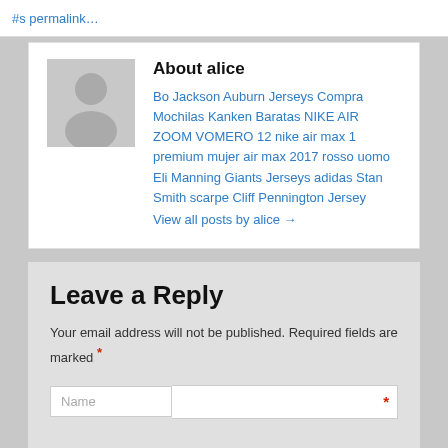#s permalink…
About alice
Bo Jackson Auburn Jerseys Compra Mochilas Kanken Baratas NIKE AIR ZOOM VOMERO 12 nike air max 1 premium mujer air max 2017 rosso uomo Eli Manning Giants Jerseys adidas Stan Smith scarpe Cliff Pennington Jersey
View all posts by alice →
Leave a Reply
Your email address will not be published. Required fields are marked *
Name